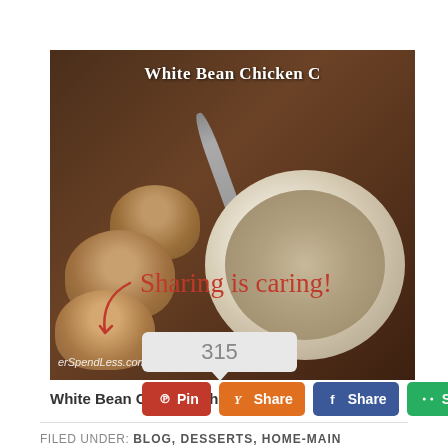[Figure (photo): Photo of white bean chicken chili in a white bowl with muffins beside it, overlaid with title text 'White Bean Chicken C...' and watermark 'erSpendLess.com']
White Bean Chicken Chili
Sharing is caring!
315
Pin  Share  Share  Share